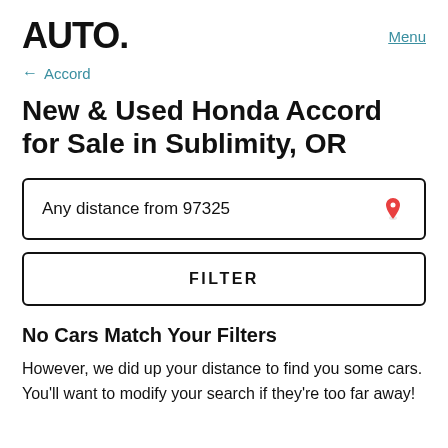AUTO.
Menu
← Accord
New & Used Honda Accord for Sale in Sublimity, OR
Any distance from 97325
FILTER
No Cars Match Your Filters
However, we did up your distance to find you some cars. You'll want to modify your search if they're too far away!